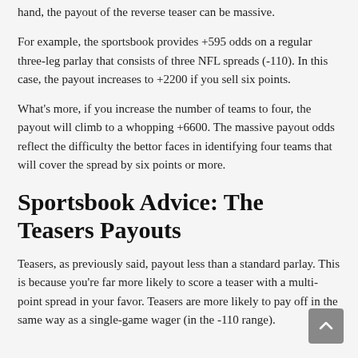hand, the payout of the reverse teaser can be massive.
For example, the sportsbook provides +595 odds on a regular three-leg parlay that consists of three NFL spreads (-110). In this case, the payout increases to +2200 if you sell six points.
What's more, if you increase the number of teams to four, the payout will climb to a whopping +6600. The massive payout odds reflect the difficulty the bettor faces in identifying four teams that will cover the spread by six points or more.
Sportsbook Advice: The Teasers Payouts
Teasers, as previously said, payout less than a standard parlay. This is because you're far more likely to score a teaser with a multi-point spread in your favor. Teasers are more likely to pay off in the same way as a single-game wager (in the -110 range).